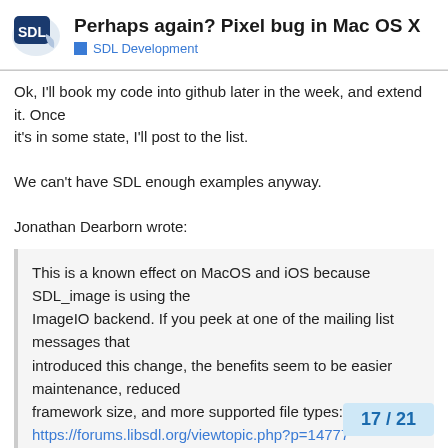Perhaps again? Pixel bug in Mac OS X — SDL Development
Ok, I'll book my code into github later in the week, and extend it. Once
it's in some state, I'll post to the list.

We can't have SDL enough examples anyway.

Jonathan Dearborn wrote:
This is a known effect on MacOS and iOS because SDL_image is using the
ImageIO backend. If you peek at one of the mailing list messages that
introduced this change, the benefits seem to be easier maintenance, reduced
framework size, and more supported file types:
https://forums.libsdl.org/viewtopic.php?p=14777
Ah, thanks Jonathan, I hadn't seen that me... lack of